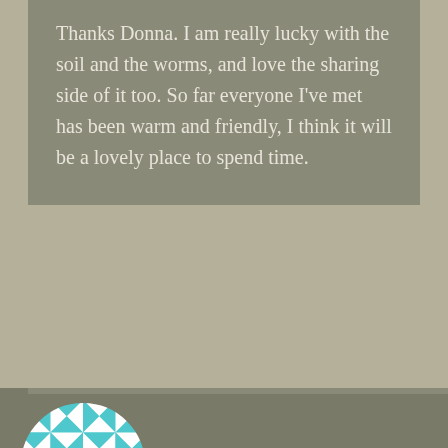Thanks Donna. I am really lucky with the soil and the worms, and love the sharing side of it too. So far everyone I've met has been warm and friendly, I think it will be a lovely place to spend time.
[Figure (illustration): Circular avatar with teal/cyan geometric quilt-like pattern featuring star shapes on white background]
A Year In My Garden
12 years ago
Permalink
When the time comes I am going to vote for this post as the best soil picture of the year. I used toi have a piece of soil just like this but without the